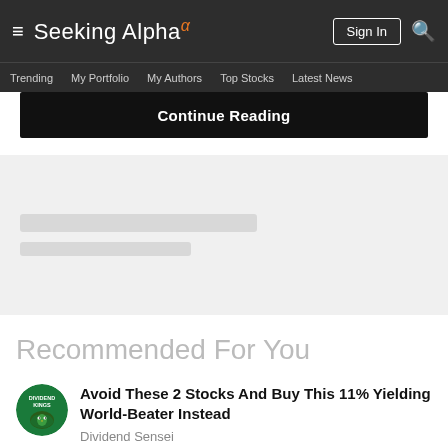Seeking Alpha — Trending | My Portfolio | My Authors | Top Stocks | Latest News
Continue Reading
[Figure (other): Loading placeholder bars (gray skeleton UI)]
Recommended For You
[Figure (logo): Dividend Kings circular green logo]
Avoid These 2 Stocks And Buy This 11% Yielding World-Beater Instead
Dividend Sensei